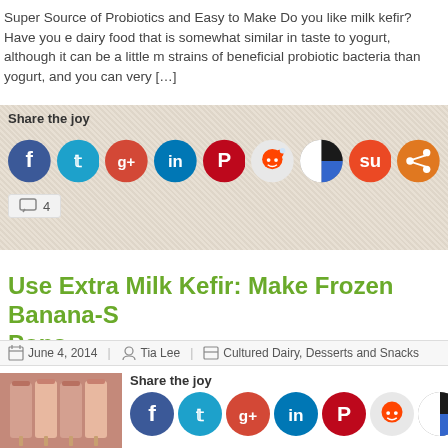Super Source of Probiotics and Easy to Make Do you like milk kefir?  Have you e dairy food that is somewhat similar in taste to yogurt, although it can be a little m strains of beneficial probiotic bacteria than yogurt, and you can very […]
Share the joy
[Figure (infographic): Social sharing icons: Facebook (blue), Twitter (teal), Google+ (red), LinkedIn (dark blue), Pinterest (red), Reddit (orange), BlackBerry/Other (black-white), StumbleUpon (orange-red), Share (orange)]
4
Use Extra Milk Kefir: Make Frozen Banana-S Pops
June 4, 2014   Tia Lee   Cultured Dairy, Desserts and Snacks
[Figure (photo): Pink frozen banana kefir pops in a row]
Share the joy
[Figure (infographic): Social sharing icons row: Facebook, Twitter, Google+, LinkedIn, Pinterest, Reddit, BlackBerry/Other, StumbleUpon, Share (partial)]